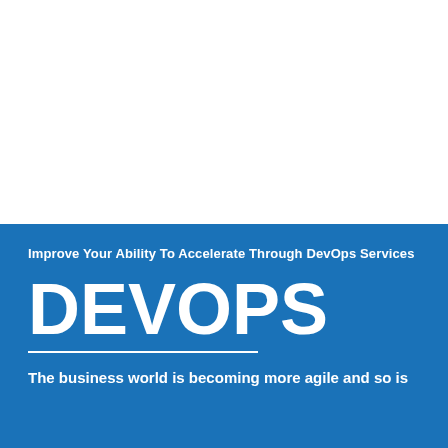[Figure (other): White blank area at top of page, likely containing an image that is not visible]
Improve Your Ability To Accelerate Through DevOps Services
DEVOPS
The business world is becoming more agile and so is